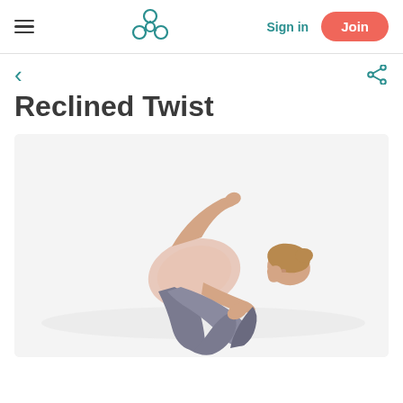Navigation bar with hamburger menu, logo, Sign in link, and Join button
Reclined Twist
[Figure (photo): A woman lying on her side on a white background performing the Reclined Twist yoga pose. She is wearing a light pink tank top and grey leggings, with her knees bent and arms extended.]